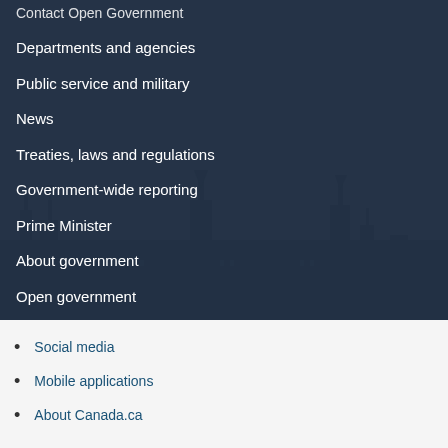Contact Open Government
Departments and agencies
Public service and military
News
Treaties, laws and regulations
Government-wide reporting
Prime Minister
About government
Open government
Social media
Mobile applications
About Canada.ca